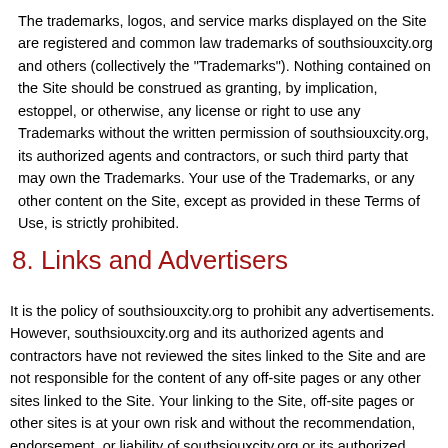The trademarks, logos, and service marks displayed on the Site are registered and common law trademarks of southsiouxcity.org and others (collectively the "Trademarks"). Nothing contained on the Site should be construed as granting, by implication, estoppel, or otherwise, any license or right to use any Trademarks without the written permission of southsiouxcity.org, its authorized agents and contractors, or such third party that may own the Trademarks. Your use of the Trademarks, or any other content on the Site, except as provided in these Terms of Use, is strictly prohibited.
8. Links and Advertisers
It is the policy of southsiouxcity.org to prohibit any advertisements. However, southsiouxcity.org and its authorized agents and contractors have not reviewed the sites linked to the Site and are not responsible for the content of any off-site pages or any other sites linked to the Site. Your linking to the Site, off-site pages or other sites is at your own risk and without the recommendation, endorsement, or liability of southsiouxcity.org or its authorized agents and contractors. Your correspondence or business dealings with or participation in promotions of advertisers found on or through the Site, including payment and delivery of related goods or services, and any other terms, conditions, warranties, or representations associated with such dealings are solely between you and such advertiser. southsiouxcity.org